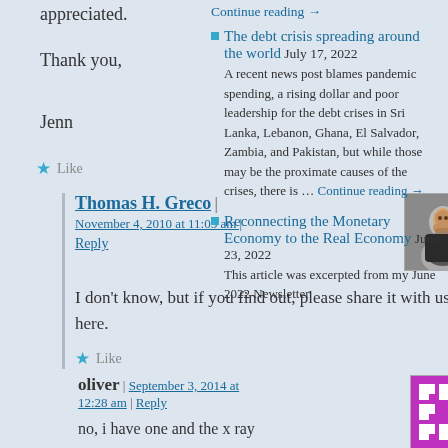Thank you,
Jenn
★ Like
Thomas H. Greco | November 4, 2010 at 11:05 am | Reply
I don't know, but if you find out, please share it with us here.
★ Like
oliver | September 3, 2014 at 12:28 am | Reply
no, i have one and the x ray
Continue reading →
The debt crisis spreading around the world July 17, 2022 A recent news post blames pandemic spending, a rising dollar and poor leadership for the debt crises in Sri Lanka, Lebanon, Ghana, El Salvador, Zambia, and Pakistan, but while those may be the proximate causes of the crises, there is … Continue reading →
Reconnecting the Monetary Economy to the Real Economy June 23, 2022 This article was excerpted from my June 2022 Newsletter